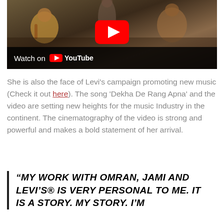[Figure (screenshot): YouTube video thumbnail showing musicians in a room with warm lighting, with a YouTube play button overlay and 'Watch on YouTube' bar at the bottom]
She is also the face of Levi's campaign promoting new music (Check it out here). The song 'Dekha De Rang Apna' and the video are setting new heights for the music Industry in the continent. The cinematography of the video is strong and powerful and makes a bold statement of her arrival.
“MY WORK WITH OMRAN, JAMI AND LEVI’S® IS VERY PERSONAL TO ME. IT IS A STORY. MY STORY. I’M